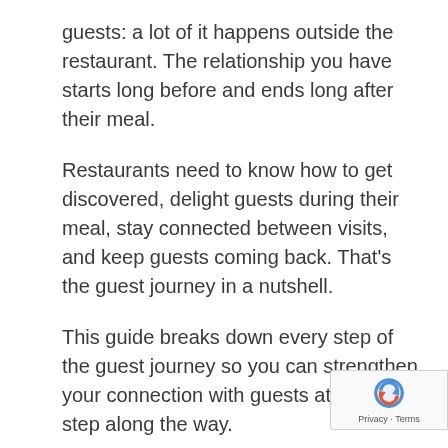guests: a lot of it happens outside the restaurant. The relationship you have starts long before and ends long after their meal.
Restaurants need to know how to get discovered, delight guests during their meal, stay connected between visits, and keep guests coming back. That's the guest journey in a nutshell.
This guide breaks down every step of the guest journey so you can strengthen your connection with guests at every step along the way.
The journey starts sooner than you might think (before someone even makes a reservation) and continues long after guests